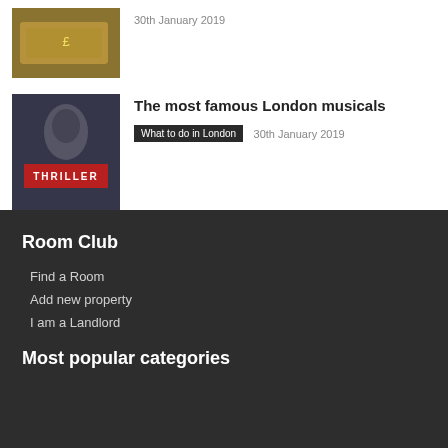[Figure (photo): Thumbnail of money/banknotes]
30th January 2019
[Figure (photo): Thumbnail of a theatre marquee showing THRILLER musical]
The most famous London musicals
What to do in London   30th January 2019
Room Club
Find a Room
Add new property
I am a Landlord
Most popular categories